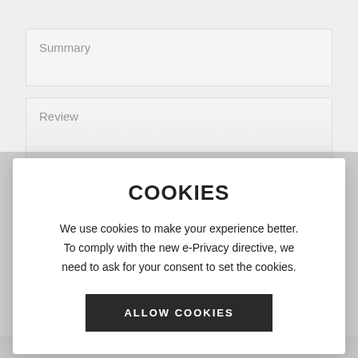Summary
Review
COOKIES
We use cookies to make your experience better. To comply with the new e-Privacy directive, we need to ask for your consent to set the cookies.
ALLOW COOKIES